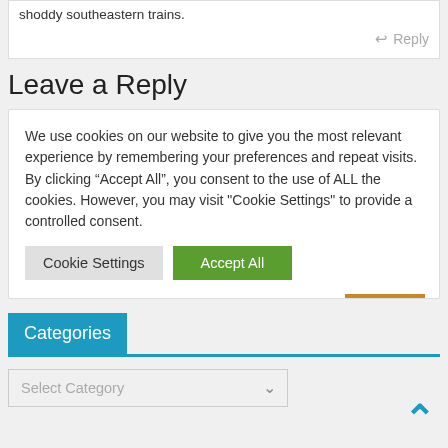shoddy southeastern trains.
Reply
Leave a Reply
We use cookies on our website to give you the most relevant experience by remembering your preferences and repeat visits. By clicking “Accept All”, you consent to the use of ALL the cookies. However, you may visit "Cookie Settings" to provide a controlled consent.
Cookie Settings
Accept All
Categories
Select Category